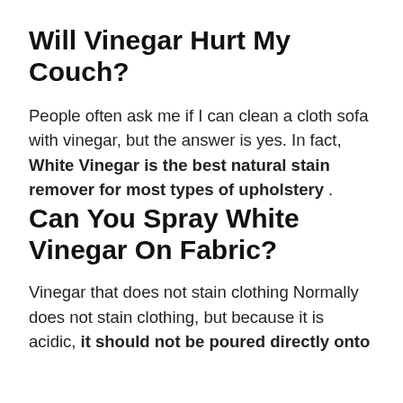Will Vinegar Hurt My Couch?
People often ask me if I can clean a cloth sofa with vinegar, but the answer is yes. In fact, White Vinegar is the best natural stain remover for most types of upholstery .
Can You Spray White Vinegar On Fabric?
Vinegar that does not stain clothing Normally does not stain clothing, but because it is acidic, it should not be poured directly onto